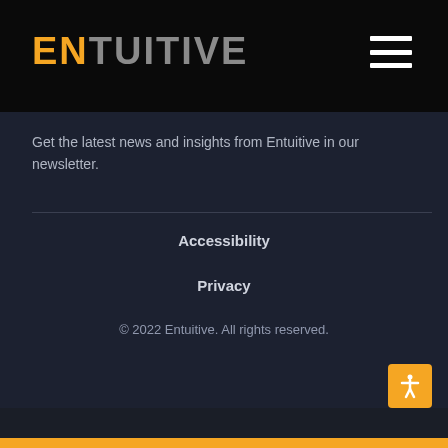ENTUITIVE
Get the latest news and insights from Entuitive in our newsletter.
Accessibility
Privacy
© 2022 Entuitive. All rights reserved.